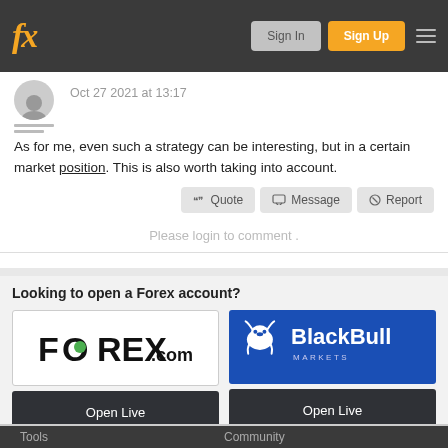fx Sign In Sign Up
Oct 27 2021 at 13:17
As for me, even such a strategy can be interesting, but in a certain market position. This is also worth taking into account.
Please login to comment .
Looking to open a Forex account?
[Figure (logo): FOREX.com broker logo — white background with FOREX.com text in black/green]
[Figure (logo): BlackBull Markets broker logo — blue background with bull icon and BlackBull Markets text in white]
Tools    Community